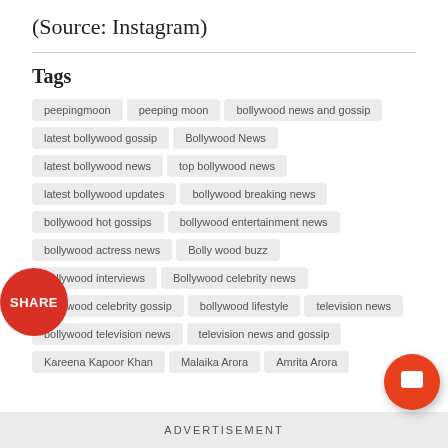(Source: Instagram)
Tags
peepingmoon
peeping moon
bollywood news and gossip
latest bollywood gossip
Bollywood News
latest bollywood news
top bollywood news
latest bollywood updates
bollywood breaking news
bollywood hot gossips
bollywood entertainment news
bollywood actress news
Bolly wood buzz
bollywood interviews
Bollywood celebrity news
bollywood celebrity gossip
bollywood lifestyle
television news
bollywood television news
television news and gossip
Kareena Kapoor Khan
Malaika Arora
Amrita Arora
ADVERTISEMENT